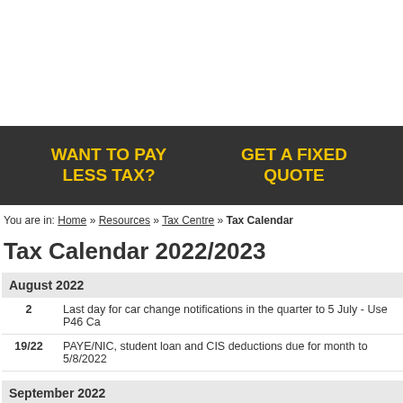[Figure (other): Dark banner with yellow bold text: WANT TO PAY LESS TAX? on the left and GET A FIXED QUOTE on the right]
You are in: Home » Resources » Tax Centre » Tax Calendar
Tax Calendar 2022/2023
| August 2022 |  |
| 2 | Last day for car change notifications in the quarter to 5 July - Use P46 Ca |
| 19/22 | PAYE/NIC, student loan and CIS deductions due for month to 5/8/2022 |
| September 2022 |  |